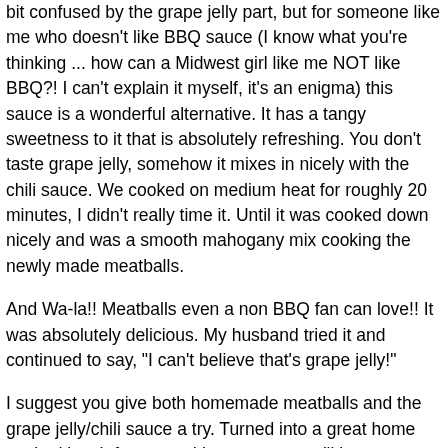bit confused by the grape jelly part, but for someone like me who doesn't like BBQ sauce (I know what you're thinking ... how can a Midwest girl like me NOT like BBQ?! I can't explain it myself, it's an enigma) this sauce is a wonderful alternative. It has a tangy sweetness to it that is absolutely refreshing. You don't taste grape jelly, somehow it mixes in nicely with the chili sauce. We cooked on medium heat for roughly 20 minutes, I didn't really time it. Until it was cooked down nicely and was a smooth mahogany mix cooking the newly made meatballs.
And Wa-la!! Meatballs even a non BBQ fan can love!! It was absolutely delicious. My husband tried it and continued to say, "I can't believe that's grape jelly!"
I suggest you give both homemade meatballs and the grape jelly/chili sauce a try. Turned into a great home cooked lunch for us, and I guarantee you'll be pleasantly surprised.